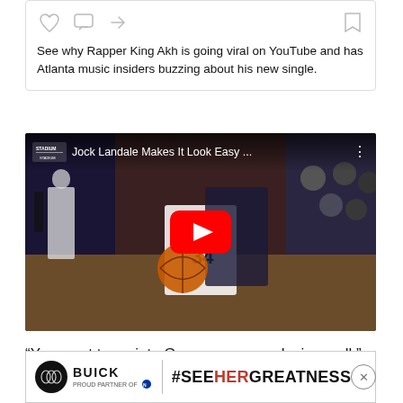[Figure (screenshot): Social media ad card with heart, comment, share icons and a bookmark icon, with text about Rapper King Akh going viral on YouTube]
See why Rapper King Akh is going viral on YouTube and has Atlanta music insiders buzzing about his new single.
[Figure (screenshot): YouTube video embed showing basketball game with Jock Landale of Saint Mary's, number 34, with red play button overlay and title 'Jock Landale Makes It Look Easy ...' on Stadium channel]
“You want to go into Gonzaga game playing well,” Saint Mary’s
[Figure (screenshot): Buick advertisement banner with Buick logo, divider, and hashtag #SEEHERGREATNESS with NCAA partner text and close button]